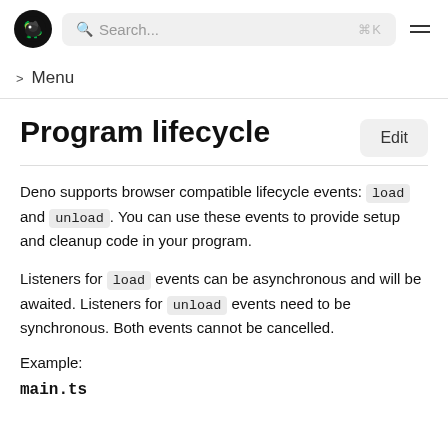Search... ⌘K
> Menu
Program lifecycle
Deno supports browser compatible lifecycle events: load and unload. You can use these events to provide setup and cleanup code in your program.
Listeners for load events can be asynchronous and will be awaited. Listeners for unload events need to be synchronous. Both events cannot be cancelled.
Example:
main.ts